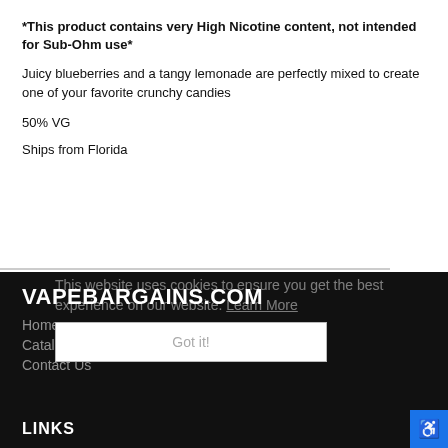*This product contains very High Nicotine content, not intended for Sub-Ohm use*
Juicy blueberries and a tangy lemonade are perfectly mixed to create one of your favorite crunchy candies
50% VG
Ships from Florida
VAPEBARGAINS.COM
Home
Catalog
Contact Us
This website uses cookies to ensure you get the best experience on our website. Learn More
Got it!
LINKS